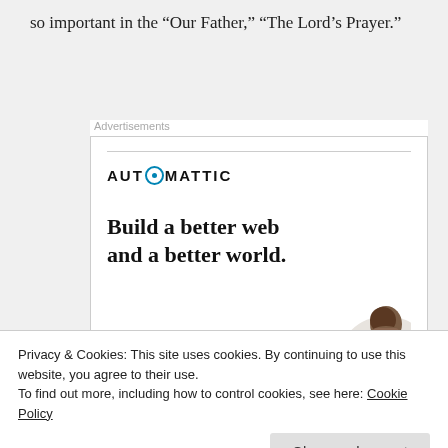so important in the “Our Father,” “The Lord’s Prayer.”
[Figure (infographic): Automattic advertisement banner: logo with stylized O, headline 'Build a better web and a better world.', Apply button, person photo]
Privacy & Cookies: This site uses cookies. By continuing to use this website, you agree to their use.
To find out more, including how to control cookies, see here: Cookie Policy
Close and accept
Father, important, indicated, Jesus, Mark, Matthew, missteps,